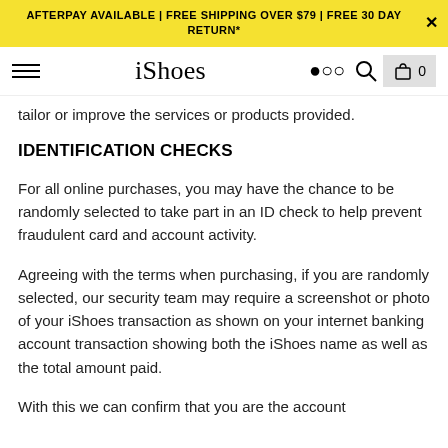AFTERPAY AVAILABLE | FREE SHIPPING OVER $79 | FREE 30 DAY RETURN*
iShoes
tailor or improve the services or products provided.
IDENTIFICATION CHECKS
For all online purchases, you may have the chance to be randomly selected to take part in an ID check to help prevent fraudulent card and account activity.
Agreeing with the terms when purchasing, if you are randomly selected, our security team may require a screenshot or photo of your iShoes transaction as shown on your internet banking account transaction showing both the iShoes name as well as the total amount paid.
With this we can confirm that you are the account